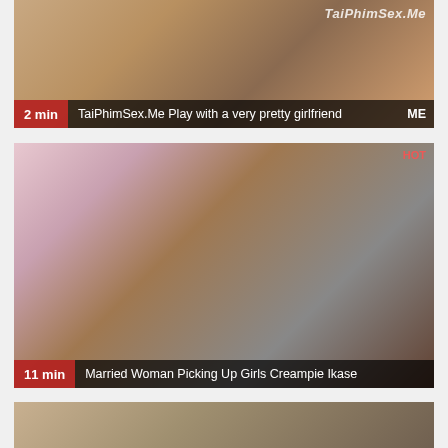[Figure (screenshot): Video thumbnail 1: Close-up scene with duration overlay '2 min' and title 'TaiPhimSex.Me Play with a very pretty girlfriend']
[Figure (screenshot): Video thumbnail 2: Young woman sitting, duration overlay '11 min' and title 'Married Woman Picking Up Girls Creampie Ikase']
[Figure (screenshot): Video thumbnail 3: Partially visible thumbnail at bottom of page]